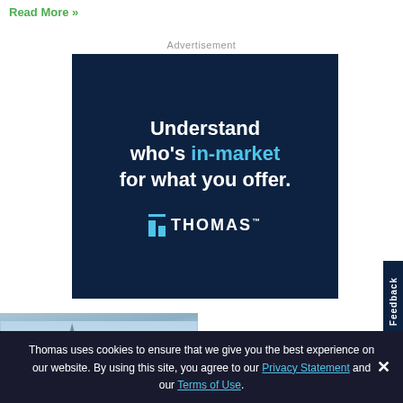Read More »
Advertisement
[Figure (other): Thomas advertisement banner with dark navy background showing text 'Understand who's in-market for what you offer.' with Thomas logo]
[Figure (photo): Photo of a building with a spire against a light blue sky]
Feedback
Thomas uses cookies to ensure that we give you the best experience on our website. By using this site, you agree to our Privacy Statement and our Terms of Use.